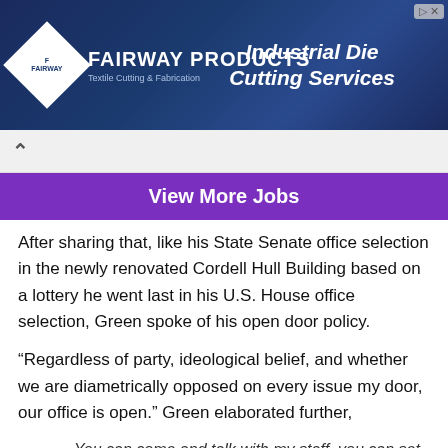[Figure (other): Fairway Products advertisement banner with dark blue background, company logo (diamond shape with FAIRWAY text), company name 'FAIRWAY PRODUCTS' with subtitle 'Textile Cutting & Fabrication', and right side text 'Industrial Die Cutting Services' in italic white bold font. Ad close button in top right.]
[Figure (other): Navigation bar with upward arrow chevron on gray background, followed by purple 'View More Jobs' button]
After sharing that, like his State Senate office selection in the newly renovated Cordell Hull Building based on a lottery he went last in his U.S. House office selection, Green spoke of his open door policy.
“Regardless of party, ideological belief, and whether we are diametrically opposed on every issue my door, our office is open.” Green elaborated further,
“ You can come and talk with my staff, you can set up an appointment with me, because that is just what’s right and good. There may even be people in this room who don’t even see me as their